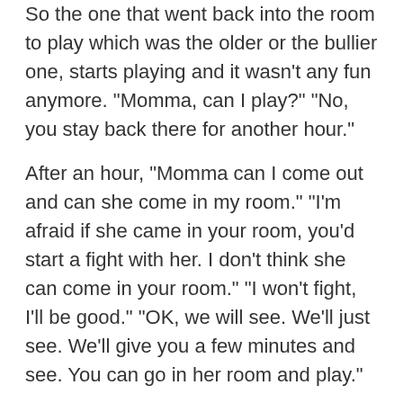So the one that went back into the room to play which was the older or the bullier one, starts playing and it wasn't any fun anymore. "Momma, can I play?" "No, you stay back there for another hour."
After an hour, "Momma can I come out and can she come in my room." "I'm afraid if she came in your room, you'd start a fight with her. I don't think she can come in your room." "I won't fight, I'll be good." "OK, we will see. We'll just see. We'll give you a few minutes and see. You can go in her room and play."
She played well. She didn't fight. She gave over. She shared. Why? Because being denied fellowship with her sister, having to play alone, was such a negative experience that she corralled her selfishness.
To "Hang on, don't play with my toys, don't bother me, leave